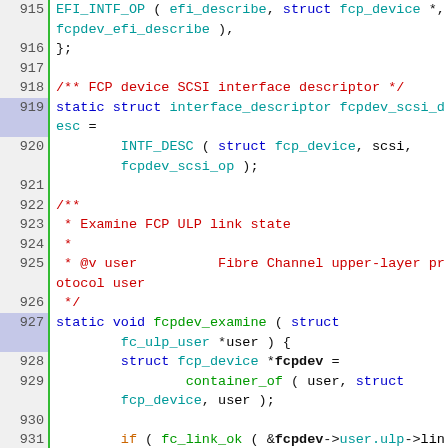Source code listing, lines 915-938, C code for FCP device SCSI interface and fcpdev_examine function